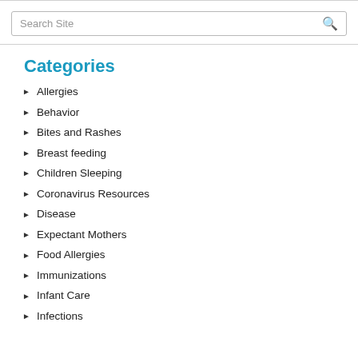Categories
Allergies
Behavior
Bites and Rashes
Breast feeding
Children Sleeping
Coronavirus Resources
Disease
Expectant Mothers
Food Allergies
Immunizations
Infant Care
Infections